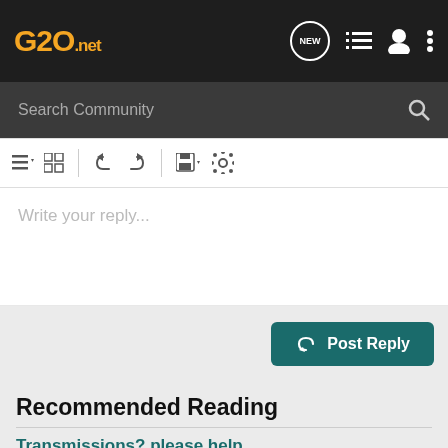G20.net — navigation bar with logo, NEW badge, list icon, user icon, more icon
Search Community
[Figure (screenshot): Toolbar with list, grid, undo, redo, save, and settings icons]
Write your reply...
Post Reply
Recommended Reading
Transmissions? please help
Engine Transmission...